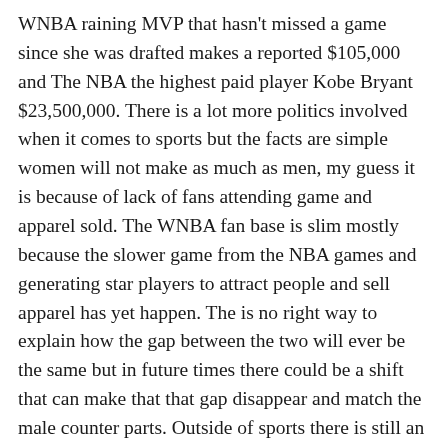WNBA raining MVP that hasn't missed a game since she was drafted makes a reported $105,000 and The NBA the highest paid player Kobe Bryant $23,500,000. There is a lot more politics involved when it comes to sports but the facts are simple women will not make as much as men, my guess it is because of lack of fans attending game and apparel sold. The WNBA fan base is slim mostly because the slower game from the NBA games and generating star players to attract people and sell apparel has yet happen. The is no right way to explain how the gap between the two will ever be the same but in future times there could be a shift that can make that that gap disappear and match the male counter parts. Outside of sports there is still an extreme difference in the pay gap with all jobs I don't have the stats to support this but here the thing I see women working hard everyday to achieve goals that they set for themselves. Some women that I have personally met enjoy helping people weather its children, the elderly, or mental patients. Sometimes money doesn't matter to a lot people men or women if they have set a goal on what they want to do they